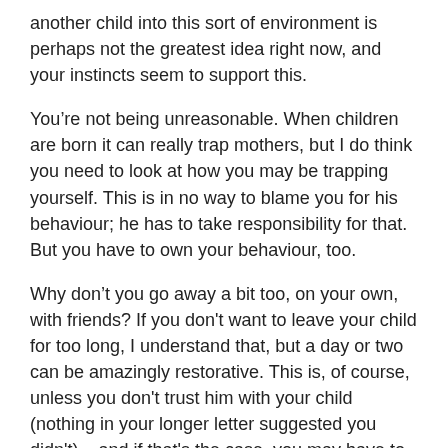another child into this sort of environment is perhaps not the greatest idea right now, and your instincts seem to support this.
You’re not being unreasonable. When children are born it can really trap mothers, but I do think you need to look at how you may be trapping yourself. This is in no way to blame you for his behaviour; he has to take responsibility for that. But you have to own your behaviour, too.
Why don’t you go away a bit too, on your own, with friends? If you don't want to leave your child for too long, I understand that, but a day or two can be amazingly restorative. This is, of course, unless you don't trust him with your child (nothing in your longer letter suggested you didn't) – and if that's the case, you may have to question why you’re with him at all.